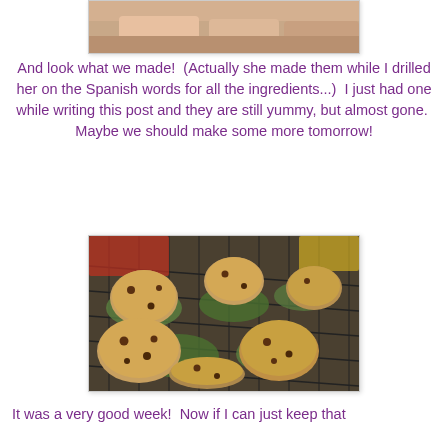[Figure (photo): Partial photo of a child's legs/feet on carpet, cropped at top of page]
And look what we made!  (Actually she made them while I drilled her on the Spanish words for all the ingredients...)  I just had one while writing this post and they are still yummy, but almost gone.  Maybe we should make some more tomorrow!
[Figure (photo): Photo of freshly baked chocolate chip cookies cooling on a wire rack, with colorful packaging visible in the background]
It was a very good week!  Now if I can just keep that